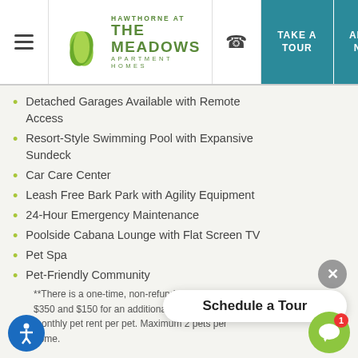Hawthorne at The Meadows Apartment Homes — Take a Tour | Apply Now
Detached Garages Available with Remote Access
Resort-Style Swimming Pool with Expansive Sundeck
Car Care Center
Leash Free Bark Park with Agility Equipment
24-Hour Emergency Maintenance
Poolside Cabana Lounge with Flat Screen TV
Pet Spa
Pet-Friendly Community
**There is a one-time, non-refundable fee of $350 and $150 for an additional and $20 monthly pet rent per pet. Maximum 2 pets per home.